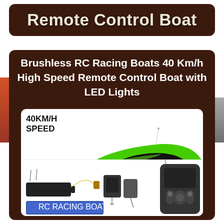Remote Control Boat
Brushless RC Racing Boats 40 Km/h High Speed Remote Control Boat with LED Lights
[Figure (photo): Green brushless RC racing boat at 40KM/H speed shown with accessories including battery, charger, tools, remote control, and product box]